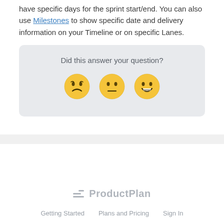have specific days for the sprint start/end. You can also use Milestones to show specific date and delivery information on your Timeline or on specific Lanes.
[Figure (infographic): Feedback widget with question 'Did this answer your question?' and three emoji faces: disappointed, neutral, and happy smiley]
[Figure (logo): ProductPlan logo with three horizontal lines icon in gray]
Getting Started   Plans and Pricing   Sign In